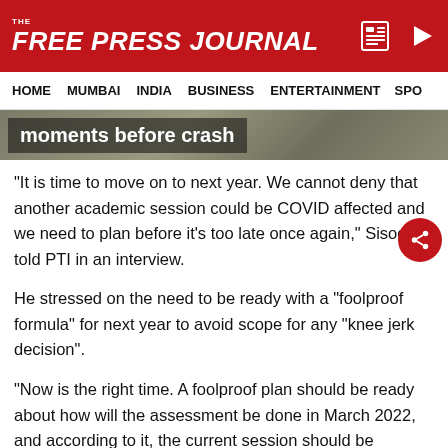THE FREE PRESS JOURNAL
HOME   MUMBAI   INDIA   BUSINESS   ENTERTAINMENT   SPO
[Figure (photo): Breaking news image strip with text overlay 'moments before crash']
"It is time to move on to next year. We cannot deny that another academic session could be COVID affected and we need to plan before it's too late once again," Sisodia told PTI in an interview.
He stressed on the need to be ready with a "foolproof formula" for next year to avoid scope for any "knee jerk decision".
"Now is the right time. A foolproof plan should be ready about how will the assessment be done in March 2022, and according to it, the current session should be planned and students should be prepared.